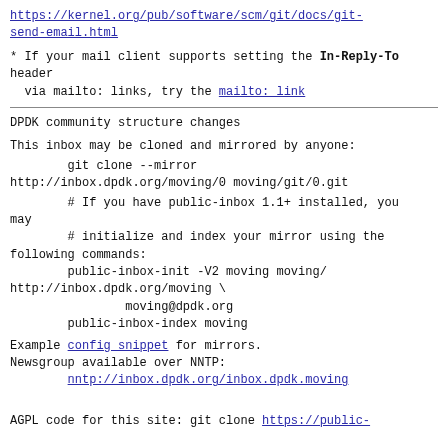https://kernel.org/pub/software/scm/git/docs/git-send-email.html
* If your mail client supports setting the In-Reply-To header
  via mailto: links, try the mailto: link
DPDK community structure changes
This inbox may be cloned and mirrored by anyone:
git clone --mirror
http://inbox.dpdk.org/moving/0 moving/git/0.git
# If you have public-inbox 1.1+ installed, you may
        # initialize and index your mirror using the
following commands:
        public-inbox-init -V2 moving moving/
http://inbox.dpdk.org/moving \
                moving@dpdk.org
        public-inbox-index moving
Example config snippet for mirrors.
Newsgroup available over NNTP:
        nntp://inbox.dpdk.org/inbox.dpdk.moving
AGPL code for this site: git clone https://public-